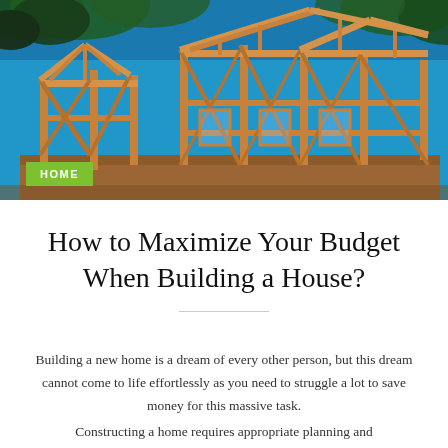[Figure (photo): Photograph of a house under construction showing wooden framing/skeleton of a new home against a bright blue sky, with tree branches visible at the top.]
HOME
How to Maximize Your Budget When Building a House?
Building a new home is a dream of every other person, but this dream cannot come to life effortlessly as you need to struggle a lot to save money for this massive task. Constructing a home requires appropriate planning and